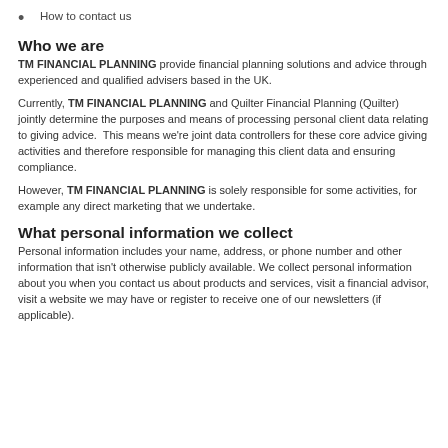How to contact us
Who we are
TM FINANCIAL PLANNING provide financial planning solutions and advice through experienced and qualified advisers based in the UK.
Currently, TM FINANCIAL PLANNING and Quilter Financial Planning (Quilter) jointly determine the purposes and means of processing personal client data relating to giving advice. This means we’re joint data controllers for these core advice giving activities and therefore responsible for managing this client data and ensuring compliance.
However, TM FINANCIAL PLANNING is solely responsible for some activities, for example any direct marketing that we undertake.
What personal information we collect
Personal information includes your name, address, or phone number and other information that isn’t otherwise publicly available. We collect personal information about you when you contact us about products and services, visit a financial advisor, visit a website we may have or register to receive one of our newsletters (if applicable).